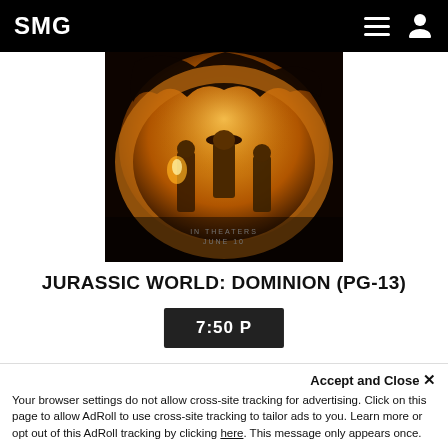SMG
[Figure (photo): Jurassic World Dominion movie poster showing three characters against a dark amber background with a large dinosaur silhouette. Text at bottom reads 'IN THEATERS JUNE 10'.]
JURASSIC WORLD: DOMINION (PG-13)
7:50 P
[Figure (photo): Partial view of another movie poster strip at the bottom of the page, showing green/nature themed imagery with partial text visible.]
Accept and Close ✕ Your browser settings do not allow cross-site tracking for advertising. Click on this page to allow AdRoll to use cross-site tracking to tailor ads to you. Learn more or opt out of this AdRoll tracking by clicking here. This message only appears once.